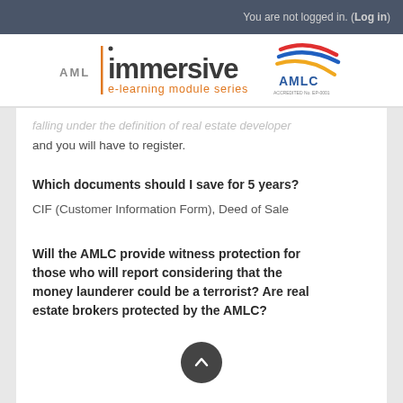You are not logged in. (Log in)
[Figure (logo): AML Immersive e-learning module series logo with AMLC accreditation badge]
falling under the definition of real estate developer and you will have to register.
Which documents should I save for 5 years?
CIF (Customer Information Form), Deed of Sale
Will the AMLC provide witness protection for those who will report considering that the money launderer could be a terrorist? Are real estate brokers protected by the AMLC?